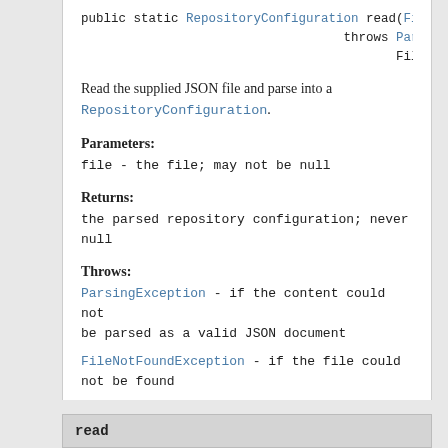public static RepositoryConfiguration read(File f
                                    throws Parsin
                                           FileNo
Read the supplied JSON file and parse into a RepositoryConfiguration.
Parameters:
file - the file; may not be null
Returns:
the parsed repository configuration; never null
Throws:
ParsingException - if the content could not be parsed as a valid JSON document
FileNotFoundException - if the file could not be found
read